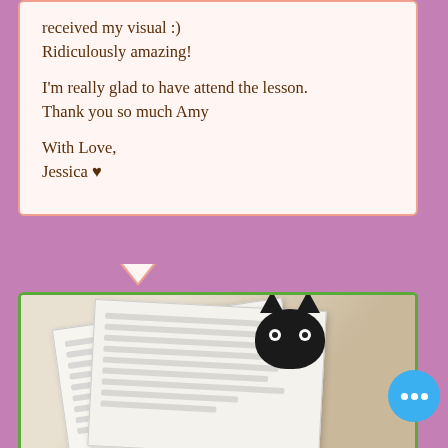received my visual :) Ridiculously amazing!

I'm really glad to have attend the lesson.
Thank you so much Amy

With Love,
Jessica ♥
[Figure (photo): Photo of printed documents/worksheets on a table with a black cat plush toy peeking from behind the papers, on a wooden surface background.]
I came to know about Amy Lim and her workshop via a close peer who also attended the same workshop earlier. I must say because I am...